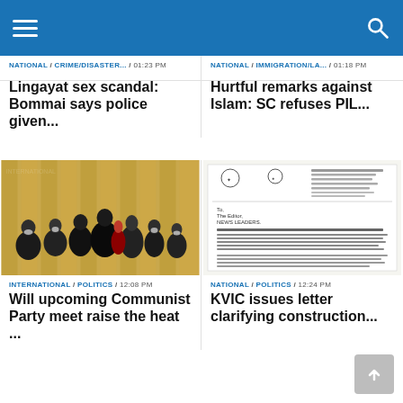Navigation header with hamburger menu and search icon
NATIONAL / CRIME/DISASTER... / 01:23 PM
Lingayat sex scandal: Bommai says police given...
NATIONAL / IMMIGRATION/LA... / 01:18 PM
Hurtful remarks against Islam: SC refuses PIL...
[Figure (photo): Group of people in formal attire at an official event, some wearing masks, with golden curtain backdrop. Appears to be a political gathering in China.]
INTERNATIONAL / POLITICS / 12:08 PM
Will upcoming Communist Party meet raise the heat ...
[Figure (photo): Scanned government letter document with official letterhead, logo, and typed text content from KVIC.]
NATIONAL / POLITICS / 12:24 PM
KVIC issues letter clarifying construction...